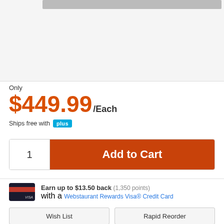[Figure (photo): Product image area at top of page, partially cropped, with gray bar visible]
Only
$449.99/Each
Ships free with plus
1  Add to Cart
Earn up to $13.50 back (1,350 points) with a Webstaurant Rewards Visa® Credit Card
Wish List
Rapid Reorder